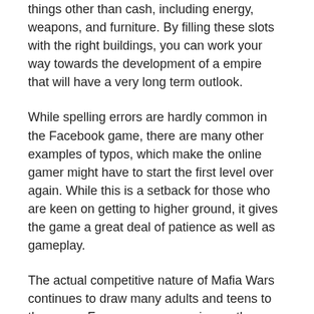things other than cash, including energy, weapons, and furniture. By filling these slots with the right buildings, you can work your way towards the development of a empire that will have a very long term outlook.
While spelling errors are hardly common in the Facebook game, there are many other examples of typos, which make the online gamer might have to start the first level over again. While this is a setback for those who are keen on getting to higher ground, it gives the game a great deal of patience as well as gameplay.
The actual competitive nature of Mafia Wars continues to draw many adults and teens to the game. From my own experience, there are numerous booster levels that introduce new aspects to the game, and also new aspects that allow you to score well in the game. [link] The character Pamper also occasional boosts the popularity of virtual buildings within the game, and you have